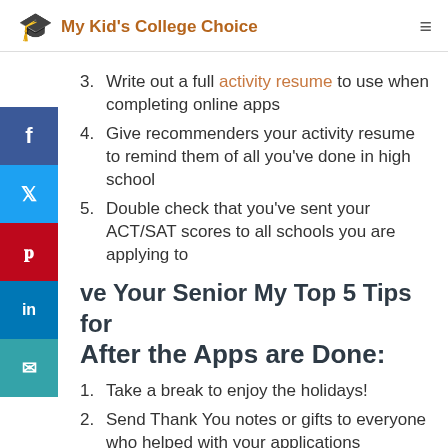My Kid's College Choice
3. Write out a full activity resume to use when completing online apps
4. Give recommenders your activity resume to remind them of all you've done in high school
5. Double check that you've sent your ACT/SAT scores to all schools you are applying to
ve Your Senior My Top 5 Tips for After the Apps are Done:
1. Take a break to enjoy the holidays!
2. Send Thank You notes or gifts to everyone who helped with your applications